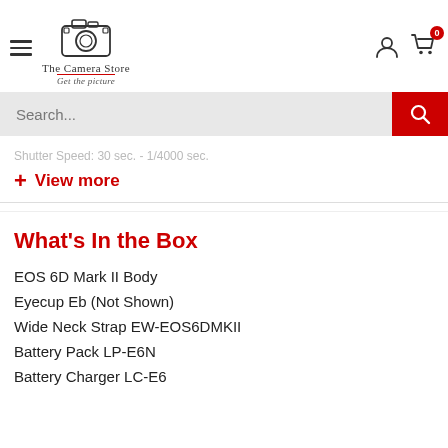[Figure (logo): The Camera Store logo with camera illustration and tagline 'Get the picture']
Search...
Shutter Speed: 30 sec. - 1/4000 sec.
+ View more
What's In the Box
EOS 6D Mark II Body
Eyecup Eb (Not Shown)
Wide Neck Strap EW-EOS6DMKII
Battery Pack LP-E6N
Battery Charger LC-E6